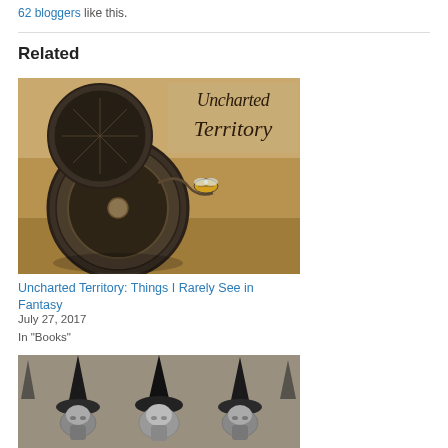62 bloggers like this.
Related
[Figure (photo): Book cover image for 'Uncharted Territory' showing an antique compass and pocket watch on sandy ground with a bee nearby. Sepia/warm tones. Text reads 'Uncharted Territory' in elegant script.]
Uncharted Territory: Things I Rarely See in Fantasy
July 27, 2017
In "Books"
[Figure (photo): Black and white photo of multiple people wearing tall pointed witch/wizard hats, showing mainly their hats and upper faces.]